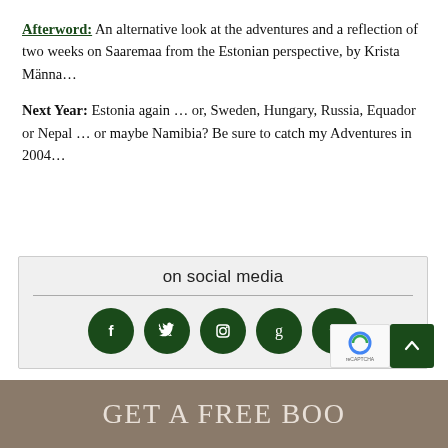Afterword: An alternative look at the adventures and a reflection of two weeks on Saaremaa from the Estonian perspective, by Krista Männa…
Next Year: Estonia again … or, Sweden, Hungary, Russia, Equador or Nepal … or maybe Namibia? Be sure to catch my Adventures in 2004…
[Figure (infographic): Social media widget box with title 'on social media', a horizontal rule, and five dark green circular icons for Facebook, Twitter, Instagram, Goodreads, and Pinterest]
GET A FREE BOO...